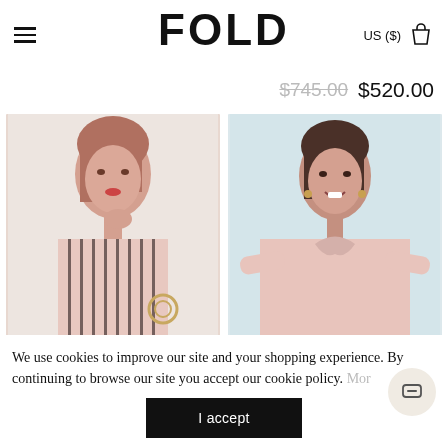FOLD — US ($)
$745.00 $520.00
[Figure (photo): Two fashion model photos side by side. Left: woman in striped pink top with bracelet, white background. Right: woman in pale pink top with bow detail, smiling, light blue background.]
We use cookies to improve our site and your shopping experience. By continuing to browse our site you accept our cookie policy. More